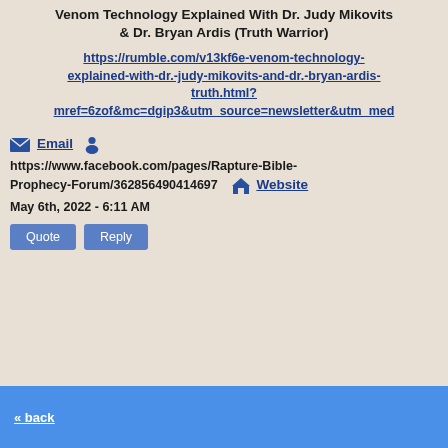Venom Technology Explained With Dr. Judy Mikovits & Dr. Bryan Ardis (Truth Warrior)
https://rumble.com/v13kf6e-venom-technology-explained-with-dr.-judy-mikovits-and-dr.-bryan-ardis-truth.html?mref=6zof&mc=dgip3&utm_source=newsletter&utm_med
Email  https://www.facebook.com/pages/Rapture-Bible-Prophecy-Forum/362856490414697  Website
May 6th, 2022 - 6:11 AM
Quote  Reply
« back